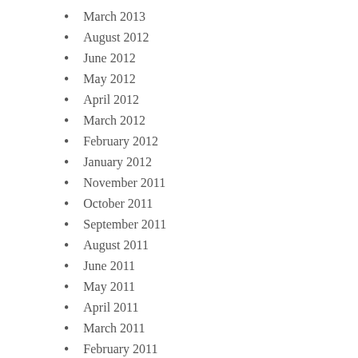March 2013
August 2012
June 2012
May 2012
April 2012
March 2012
February 2012
January 2012
November 2011
October 2011
September 2011
August 2011
June 2011
May 2011
April 2011
March 2011
February 2011